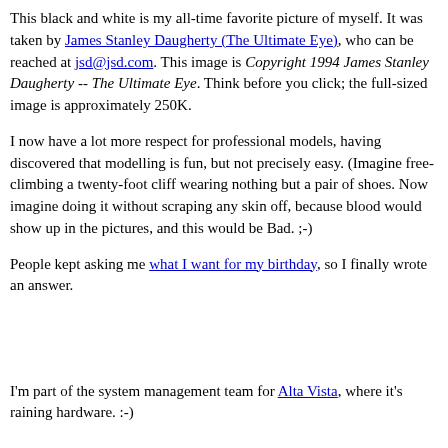This black and white is my all-time favorite picture of myself. It was taken by James Stanley Daugherty (The Ultimate Eye), who can be reached at jsd@jsd.com. This image is Copyright 1994 James Stanley Daugherty -- The Ultimate Eye. Think before you click; the full-sized image is approximately 250K.
I now have a lot more respect for professional models, having discovered that modelling is fun, but not precisely easy. (Imagine free-climbing a twenty-foot cliff wearing nothing but a pair of shoes. Now imagine doing it without scraping any skin off, because blood would show up in the pictures, and this would be Bad. ;-)
People kept asking me what I want for my birthday, so I finally wrote an answer.
I'm part of the system management team for Alta Vista, where it's raining hardware. :-)